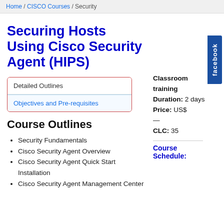Home / CISCO Courses / Security
Securing Hosts Using Cisco Security Agent (HIPS)
Detailed Outlines
Objectives and Pre-requisites
Course Outlines
Security Fundamentals
Cisco Security Agent Overview
Cisco Security Agent Quick Start Installation
Cisco Security Agent Management Center
Classroom training Duration: 2 days
Price: US$
—
CLC: 35
Course Schedule: